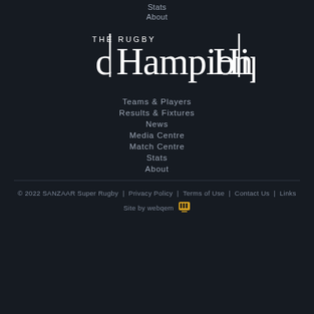Stats
About
[Figure (logo): The Rugby Championship logo — stylized text reading 'THE RUGBY CHAMPIONSHIP' in white on dark background]
Teams & Players
Results & Fixtures
News
Media Centre
Match Centre
Stats
About
© 2022 SANZAAR Super Rugby  |  Privacy Policy  |  Terms of Use  |  Contact Us  |  Links
Site by webqem [icon]